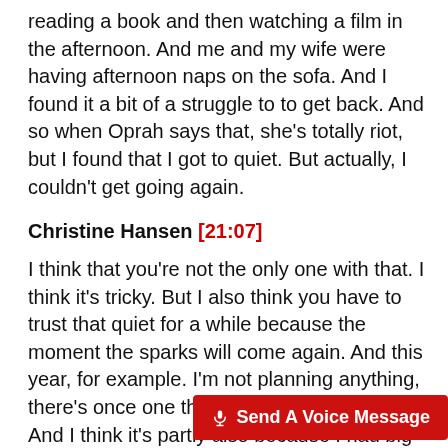reading a book and then watching a film in the afternoon. And me and my wife were having afternoon naps on the sofa. And I found it a bit of a struggle to to get back. And so when Oprah says that, she's totally riot, but I found that I got to quiet. But actually, I couldn't get going again.
Christine Hansen [21:07]
I think that you're not the only one with that. I think it's tricky. But I also think you have to trust that quiet for a while because the moment the sparks will come again. And this year, for example. I'm not planning anything, there's once one thing that's in my calendar. And I think it's partly also because I had big projects planned in 2019 for 2020. And obviously, due to global mayhem, that didn't happen didn't happen again in 2021. And, you know, that kind of burn... really, because I was e...
Send A Voice Message